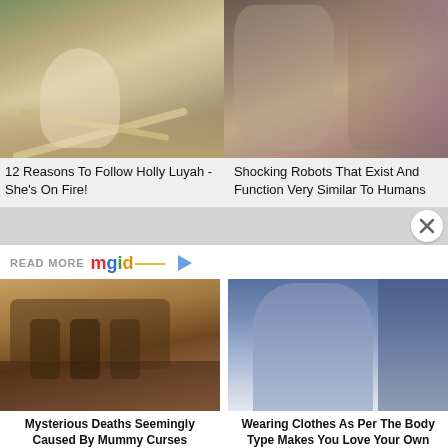[Figure (photo): Woman in white outfit posing among driftwood on a beach]
[Figure (photo): Man standing next to a humanoid robot (Sophia robot)]
12 Reasons To Follow Holly Luyah - She's On Fire!
Shocking Robots That Exist And Function Very Similar To Humans
READ MORE mgid
[Figure (photo): People examining a mummy in a museum or archaeological setting]
[Figure (photo): Young woman wearing a blue cardigan, smiling, in a store setting]
Mysterious Deaths Seemingly Caused By Mummy Curses
Wearing Clothes As Per The Body Type Makes You Love Your Own Body